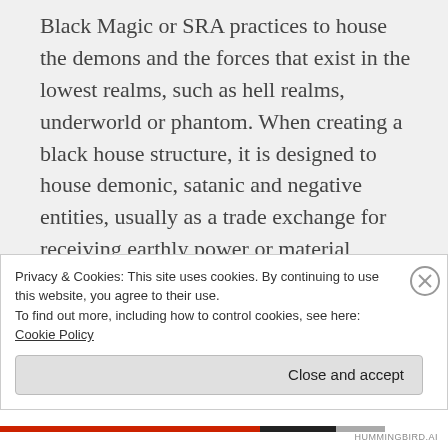Black Magic or SRA practices to house the demons and the forces that exist in the lowest realms, such as hell realms, underworld or phantom. When creating a black house structure, it is designed to house demonic, satanic and negative entities, usually as a trade exchange for receiving earthly power or material possessions. Demonics or Imposter Spirits will trade knowledge or power in some way in exchange for the person's Soul light or life force energy, or blood or sexual sacrifices, which
Privacy & Cookies: This site uses cookies. By continuing to use this website, you agree to their use.
To find out more, including how to control cookies, see here: Cookie Policy